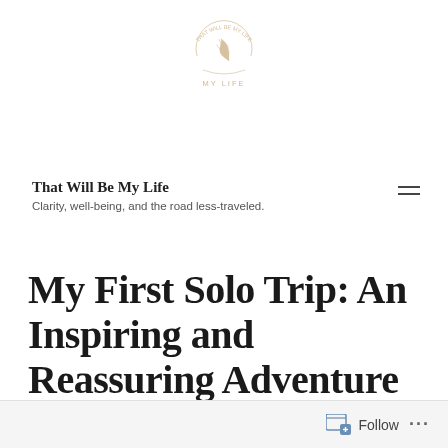[Figure (logo): Circular logo with leaf/wheat motif and text 'THAT WILL BE MY LIFE' around a circle, 'MY LIFE' text below leaf icon, in tan/gold color]
That Will Be My Life
Clarity, well-being, and the road less-traveled.
My First Solo Trip: An Inspiring and Reassuring Adventure
Follow ...